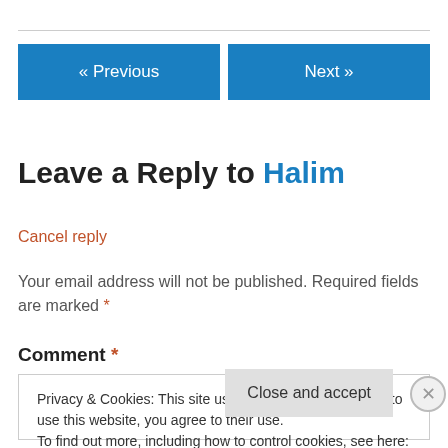« Previous   Next »
Leave a Reply to Halim
Cancel reply
Your email address will not be published. Required fields are marked *
Comment *
Privacy & Cookies: This site uses cookies. By continuing to use this website, you agree to their use.
To find out more, including how to control cookies, see here: Cookie Policy
Close and accept